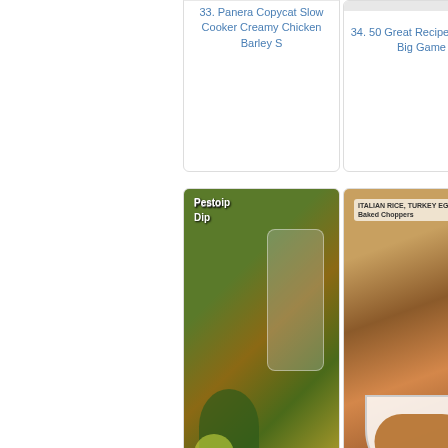33. Panera Copycat Slow Cooker Creamy Chicken Barley S
34. 50 Great Recipes for The Big Game
35. Taco Tue... Chipotle Chicke... fabulous...
[Figure (photo): Avocado Pesto Dip in a glass jar with avocado halves and herbs on wooden surface]
37. Avocado Pesto Dip - The Kitchen ChopperThe Kitchen
[Figure (photo): Italian Turkey, Eggplant, Brown Rice, Mozzarella baked in a white bowl]
38. Italian Turkey, Eggplant, Brown Rice, Mozzarella B
[Figure (photo): Strawberry Marshmallow heart-shaped rice treats with strawberries]
39. Strawber... Marshmallow... Treats
[Figure (photo): Chocolate cake slice with powdered sugar on a blue and white plate]
41. LOVE-YUMMIES or KÄRLEKSMUMS